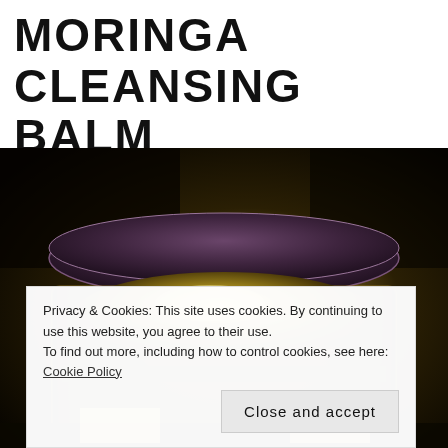MORINGA CLEANSING BALM
[Figure (photo): Close-up photo of a glass jar of Moringa Cleansing Balm with a dark purple lid and golden/olive-colored balm inside, photographed against a dark background]
Privacy & Cookies: This site uses cookies. By continuing to use this website, you agree to their use.
To find out more, including how to control cookies, see here: Cookie Policy
Close and accept